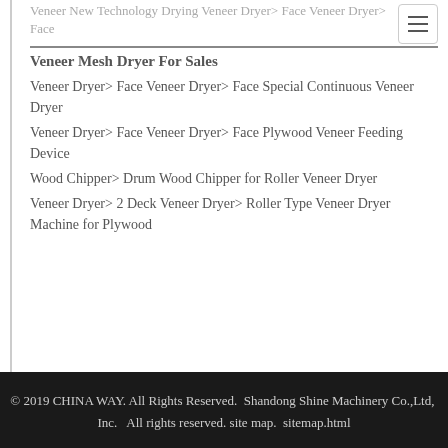Veneer New Technology Drying Veneer Dryer> Face Veneer Dryer> Face
Veneer Mesh Dryer For Sales
Veneer Dryer> Face Veneer Dryer> Face Special Continuous Veneer Dryer
Veneer Dryer> Face Veneer Dryer> Face Plywood Veneer Feeding Device
Wood Chipper> Drum Wood Chipper for Roller Veneer Dryer
Veneer Dryer> 2 Deck Veneer Dryer> Roller Type Veneer Dryer Machine for Plywood
© 2019 CHINA WAY. All Rights Reserved.  Shandong Shine Machinery Co.,Ltd,  Inc.   All rights reserved. site map.  sitemap.html